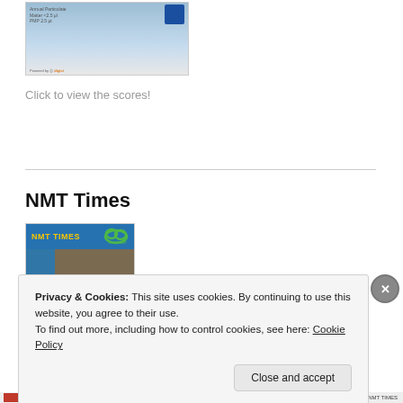[Figure (screenshot): Thumbnail of a map or scorecard webpage with a blue badge and small text labels]
Click to view the scores!
NMT Times
[Figure (photo): NMT Times newsletter cover image showing a crowded street scene with motorcycles and people, with Clean Air Asia logo and blue sidebar]
Click to access NMT
Privacy & Cookies: This site uses cookies. By continuing to use this website, you agree to their use.
To find out more, including how to control cookies, see here: Cookie Policy
Close and accept